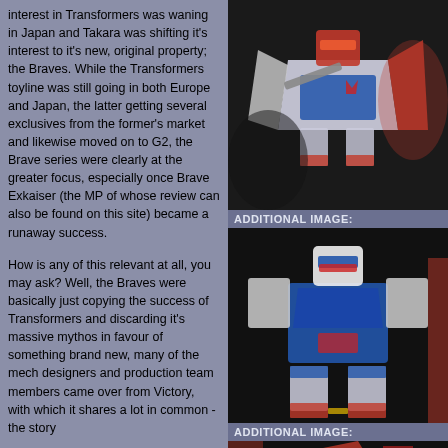interest in Transformers was waning in Japan and Takara was shifting it's interest to it's new, original property; the Braves. While the Transformers toyline was still going in both Europe and Japan, the latter getting several exclusives from the former's market and likewise moved on to G2, the Brave series were clearly at the greater focus, especially once Brave Exkaiser (the MP of whose review can also be found on this site) became a runaway success.
How is any of this relevant at all, you may ask? Well, the Braves were basically just copying the success of Transformers and discarding it's massive mythos in favour of something brand new, many of the mech designers and production team members came over from Victory, with which it shares a lot in common - the story
[Figure (photo): Photo of a Transformers robot figure in white, red and blue colors, holding a weapon, posed against a dark background]
ADDITIONAL IMAGE:
[Figure (photo): Photo of a Transformers robot figure in blue and white colors, front-facing robot mode, with red accents]
ADDITIONAL IMAGE:
[Figure (photo): Partial photo of a Transformers figure showing red and yellow parts at the bottom]